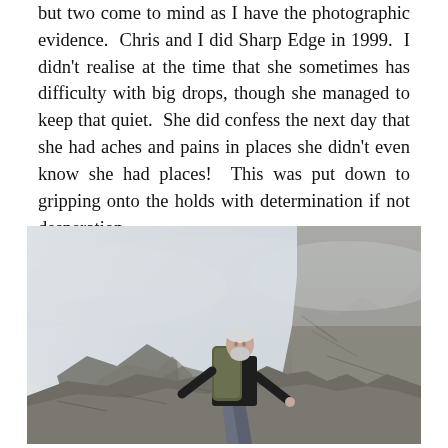but two come to mind as I have the photographic evidence.  Chris and I did Sharp Edge in 1999.  I didn't realise at the time that she sometimes has difficulty with big drops, though she managed to keep that quiet.  She did confess the next day that she had aches and pains in places she didn't even know she had places!  This was put down to gripping onto the holds with determination if not desperation
[Figure (photo): A person with a grey beard wearing a dark jacket and carrying a large backpack, climbing over rocky terrain in misty/foggy conditions.]